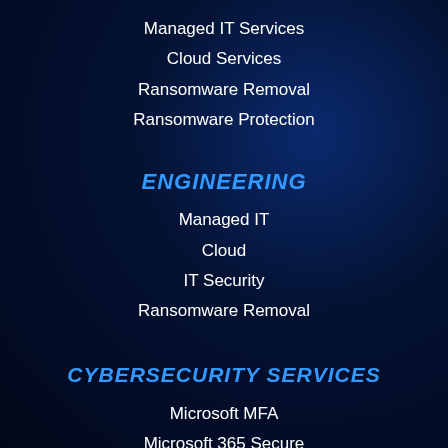Managed IT Services
Cloud Services
Ransomware Removal
Ransomware Protection
ENGINEERING
Managed IT
Cloud
IT Security
Ransomware Removal
CYBERSECURITY SERVICES
Microsoft MFA
Microsoft 365 Secure